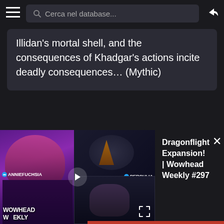[Figure (screenshot): Mobile app navigation bar with hamburger menu, search field 'Cerca nel database...' and share icon on dark background]
Illidan's mortal shell, and the consequences of Khadgar's actions incite deadly consequences... (Mythic)
[Figure (screenshot): Video player thumbnail showing Wowhead Weekly #297 with streamers AnnieFuchsia and Perculia, Dragonflight Expansion episode. Video info panel shows title 'Dragonflight Expansion! | Wowhead Weekly #297' with close button.]